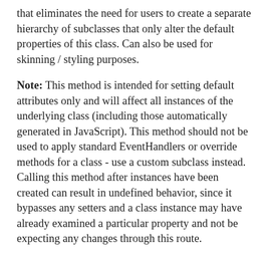that eliminates the need for users to create a separate hierarchy of subclasses that only alter the default properties of this class. Can also be used for skinning / styling purposes.
Note: This method is intended for setting default attributes only and will affect all instances of the underlying class (including those automatically generated in JavaScript). This method should not be used to apply standard EventHandlers or override methods for a class - use a custom subclass instead. Calling this method after instances have been created can result in undefined behavior, since it bypasses any setters and a class instance may have already examined a particular property and not be expecting any changes through this route.